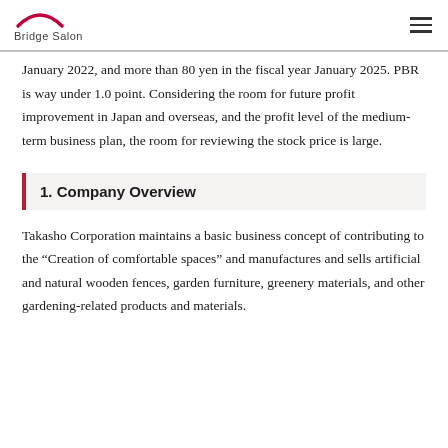Bridge Salon
January 2022, and more than 80 yen in the fiscal year January 2025. PBR is way under 1.0 point. Considering the room for future profit improvement in Japan and overseas, and the profit level of the medium-term business plan, the room for reviewing the stock price is large.
1. Company Overview
Takasho Corporation maintains a basic business concept of contributing to the “Creation of comfortable spaces” and manufactures and sells artificial and natural wooden fences, garden furniture, greenery materials, and other gardening-related products and materials.